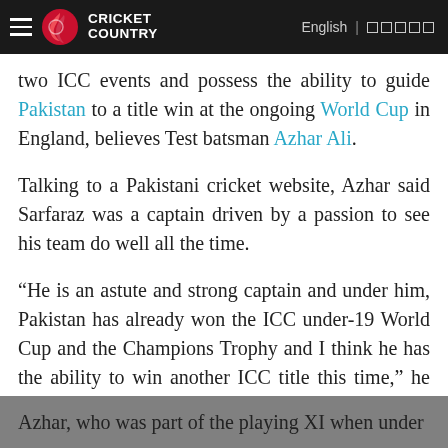Cricket Country | English
two ICC events and possess the ability to guide Pakistan to a title win at the ongoing World Cup in England, believes Test batsman Azhar Ali.
Talking to a Pakistani cricket website, Azhar said Sarfaraz was a captain driven by a passion to see his team do well all the time.
“He is an astute and strong captain and under him, Pakistan has already won the ICC under-19 World Cup and the Champions Trophy and I think he has the ability to win another ICC title this time,” he said.
Azhar, who was part of the playing XI when under